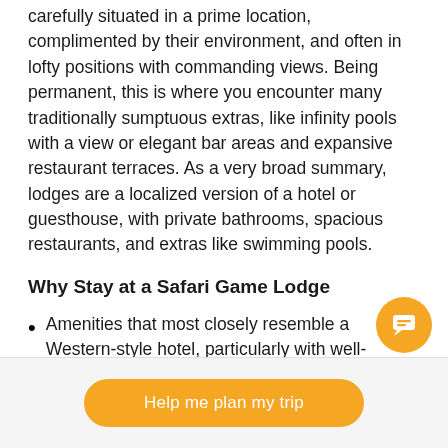carefully situated in a prime location, complimented by their environment, and often in lofty positions with commanding views. Being permanent, this is where you encounter many traditionally sumptuous extras, like infinity pools with a view or elegant bar areas and expansive restaurant terraces. As a very broad summary, lodges are a localized version of a hotel or guesthouse, with private bathrooms, spacious restaurants, and extras like swimming pools.
Why Stay at a Safari Game Lodge
Amenities that most closely resemble a Western-style hotel, particularly with well-appointed bathrooms with standard features and amenities.